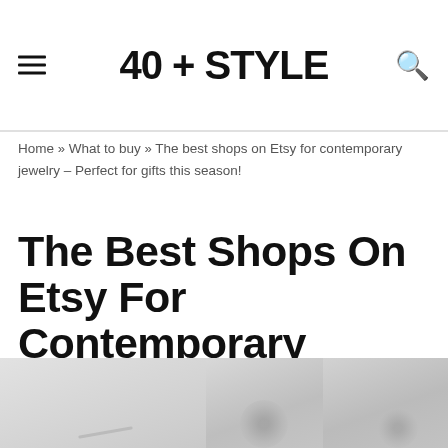40 + STYLE
Home » What to buy » The best shops on Etsy for contemporary jewelry – Perfect for gifts this season!
The Best Shops On Etsy For Contemporary Jewelry – Perfect For Gifts This Season!
[Figure (photo): Partial view of contemporary jewelry items on a light grey background, showing three panel image strip at the bottom of the page]